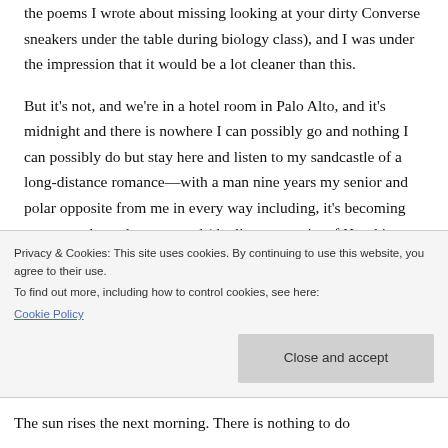the poems I wrote about missing looking at your dirty Converse sneakers under the table during biology class), and I was under the impression that it would be a lot cleaner than this.
But it's not, and we're in a hotel room in Palo Alto, and it's midnight and there is nowhere I can possibly go and nothing I can possibly do but stay here and listen to my sandcastle of a long-distance romance—with a man nine years my senior and polar opposite from me in every way including, it's becoming apparent, those that mattered (the literary merits of Haruki Murakami,
Privacy & Cookies: This site uses cookies. By continuing to use this website, you agree to their use.
To find out more, including how to control cookies, see here:
Cookie Policy
The sun rises the next morning. There is nothing to do